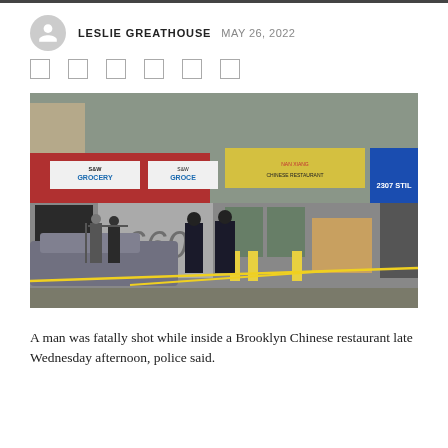LESLIE GREATHOUSE  MAY 26, 2022
[Figure (photo): Police officers at a crime scene outside a Brooklyn storefront with yellow crime scene tape. S&W Grocery and a Chinese restaurant signs visible. Address 2307 visible on blue sign.]
A man was fatally shot while inside a Brooklyn Chinese restaurant late Wednesday afternoon, police said.